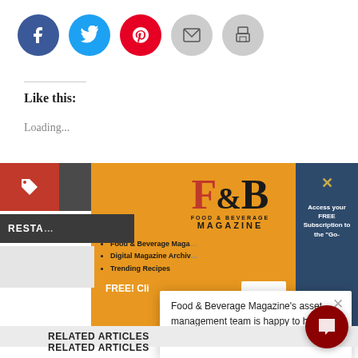[Figure (other): Row of social sharing icons: Facebook (blue circle), Twitter (light blue circle), Pinterest (red circle), Email (gray circle), Print (gray circle)]
Like this:
Loading...
[Figure (screenshot): Overlapping website popups: orange F&B Food & Beverage Magazine subscription popup with logo, menu links (Food & Beverage Maga..., Digital Magazine Archiv..., Trending Recipes), FREE! Cli... button; dark teal panel with X close and 'Access your FREE Subscription to the Go-' text; white modal popup with F&B Magazine logo and text 'Food & Beverage Magazine's asset management team is happy to help with any questions'; red chat bubble button in bottom right]
RELATED ARTICLES